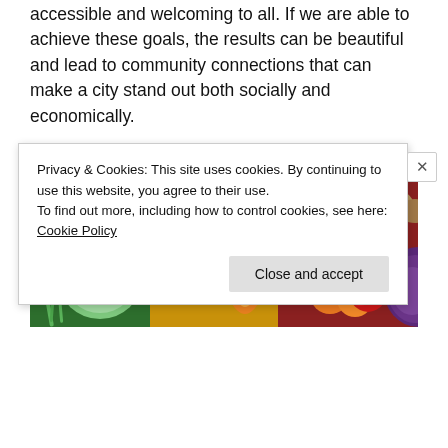accessible and welcoming to all. If we are able to achieve these goals, the results can be beautiful and lead to community connections that can make a city stand out both socially and economically.
Sponsored Content
[Figure (photo): Colorful arrangement of fresh vegetables and fruits including broccoli, cabbage, yellow peppers, papaya, carrots, strawberries, oranges, red peppers, and purple cabbage.]
Privacy & Cookies: This site uses cookies. By continuing to use this website, you agree to their use.
To find out more, including how to control cookies, see here: Cookie Policy